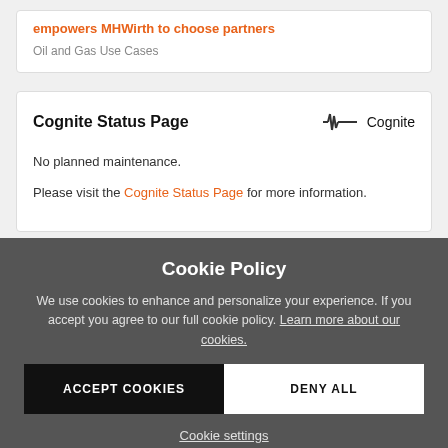empowers MHWirth to choose partners
Oil and Gas Use Cases
Cognite Status Page
[Figure (logo): Cognite logo with signal/waveform icon and text 'Cognite']
No planned maintenance.
Please visit the Cognite Status Page for more information.
Cookie Policy
We use cookies to enhance and personalize your experience. If you accept you agree to our full cookie policy. Learn more about our cookies.
ACCEPT COOKIES
DENY ALL
Cookie settings
RESOURCES
Learn
Documentation